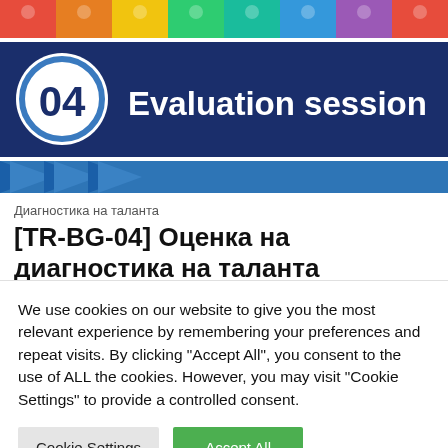[Figure (illustration): Colorful LEGO bricks banner across the top]
[Figure (illustration): Dark blue banner with circle '04' icon and 'Evaluation session' text in white]
[Figure (illustration): Blue arrow/chevron decorative bar]
Диагностика на таланта
[TR-BG-04] Оценка на диагностика на таланта (Kröll, M., Burova-Keßler, K. & Rinkova, O.)
We use cookies on our website to give you the most relevant experience by remembering your preferences and repeat visits. By clicking "Accept All", you consent to the use of ALL the cookies. However, you may visit "Cookie Settings" to provide a controlled consent.